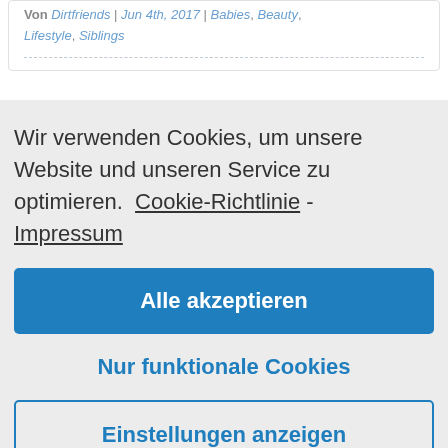Von Dirtfriends | Jun 4th, 2017 | Babies, Beauty, Lifestyle, Siblings
Wir verwenden Cookies, um unsere Website und unseren Service zu optimieren.  Cookie-Richtlinie - Impressum
Alle akzeptieren
Nur funktionale Cookies
Einstellungen anzeigen